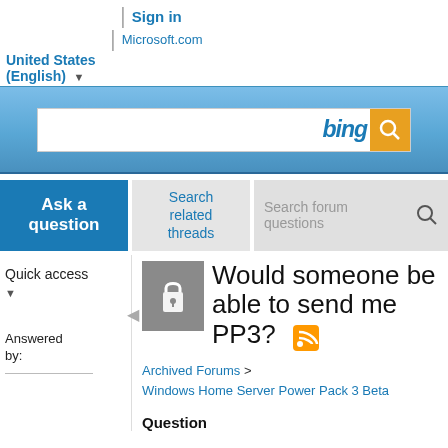Sign in | Microsoft.com | United States (English)
[Figure (screenshot): Bing search bar with logo and search button on blue gradient background]
Ask a question
Search related threads
Search forum questions
Quick access
Answered by:
Would someone be able to send me PP3?
Archived Forums > Windows Home Server Power Pack 3 Beta
Question